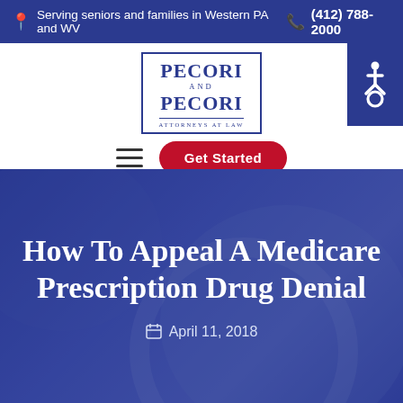Serving seniors and families in Western PA and WV   (412) 788-2000
[Figure (logo): Pecori and Pecori Attorneys at Law logo in navy blue box]
[Figure (other): Accessibility icon button on navy blue background]
Get Started
How To Appeal A Medicare Prescription Drug Denial
April 11, 2018